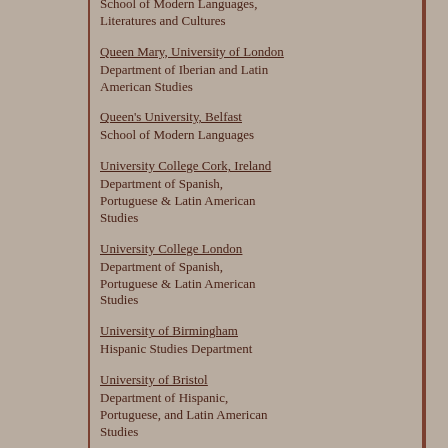School of Modern Languages, Literatures and Cultures
Queen Mary, University of London
Department of Iberian and Latin American Studies
Queen's University, Belfast
School of Modern Languages
University College Cork, Ireland
Department of Spanish, Portuguese & Latin American Studies
University College London
Department of Spanish, Portuguese & Latin American Studies
University of Birmingham
Hispanic Studies Department
University of Bristol
Department of Hispanic, Portuguese, and Latin American Studies